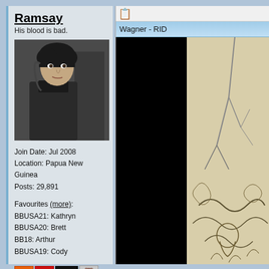Ramsay
His blood is bad.
[Figure (photo): Profile photo of a young dark-haired man in dark medieval-style clothing]
Join Date: Jul 2008
Location: Papua New Guinea
Posts: 29,891
Favourites (more):
BBUSA21: Kathryn
BBUSA20: Brett
BB18: Arthur
BBUSA19: Cody
[Figure (infographic): Row of award badges: orange 10, red 5, dark 20k, bear icon, green outline 10k, green solid TC1]
Total Awards: 6
[Figure (screenshot): Right panel showing toolbar icon, blue header bar with text 'Wagner - RID', black panel on left and illustrated artwork on right]